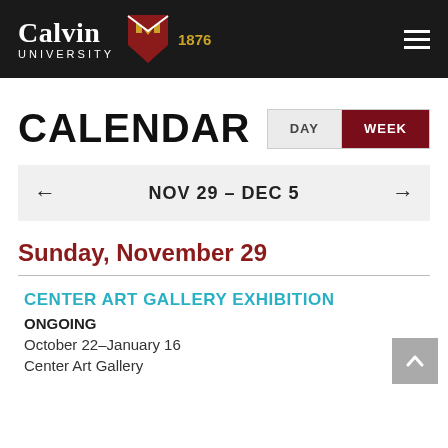Calvin University 1876
CALENDAR
DAY | WEEK
NOV 29 – DEC 5
Sunday, November 29
CENTER ART GALLERY EXHIBITION
ONGOING
October 22–January 16
Center Art Gallery